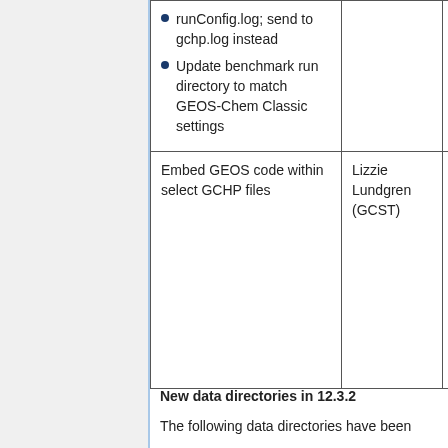|  |  |  |
| --- | --- | --- |
| runConfig.log; send to gchp.log instead
Update benchmark run directory to match GEOS-Chem Classic settings |  |  |
| Embed GEOS code within select GCHP files | Lizzie Lundgren (GCST) | Structu... |
New data directories in 12.3.2
The following data directories have been